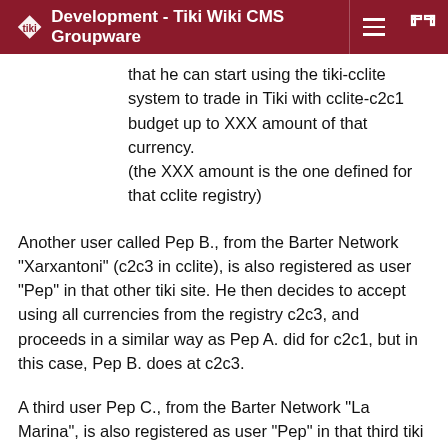Development - Tiki Wiki CMS Groupware
that he can start using the tiki-cclite system to trade in Tiki with cclite-c2c1 budget up to XXX amount of that currency.
(the XXX amount is the one defined for that cclite registry)
Another user called Pep B., from the Barter Network "Xarxantoni" (c2c3 in cclite), is also registered as user "Pep" in that other tiki site. He then decides to accept using all currencies from the registry c2c3, and proceeds in a similar way as Pep A. did for c2c1, but in this case, Pep B. does at c2c3.
A third user Pep C., from the Barter Network "La Marina", is also registered as user "Pep" in that third tiki site. He then decides to accept using currency Eco-coops (but not Hours)